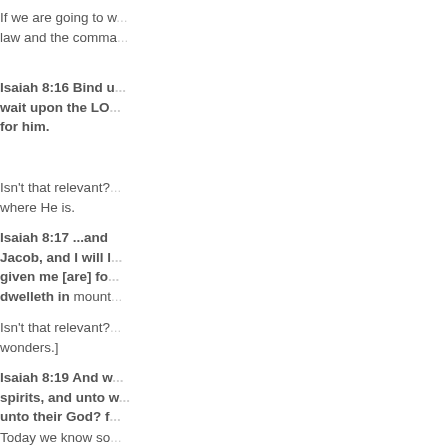If we are going to w... law and the comma...
Isaiah 8:16 Bind u... wait upon the LO... for him.
Isn't that relevant?... where He is.
Isaiah 8:17 ...and Jacob, and I will l... given me [are] fo... dwelleth in mount...
Isn't that relevant?... wonders.]
Isaiah 8:19 And w... spirits, and unto w... unto their God? f...
Today we know so...